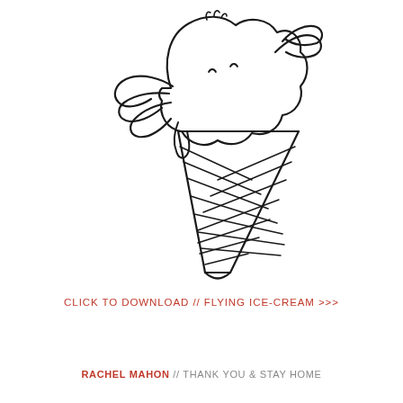[Figure (illustration): Line drawing illustration of a flying ice cream cone. The ice cream scoop sits on top of a waffle cone, has angel wings on either side, and small decorative flourishes at the top. The waffle cone has a crosshatch pattern. The style is a simple black outline on white background.]
CLICK TO DOWNLOAD // FLYING ICE-CREAM >>>
RACHEL MAHON // THANK YOU & STAY HOME